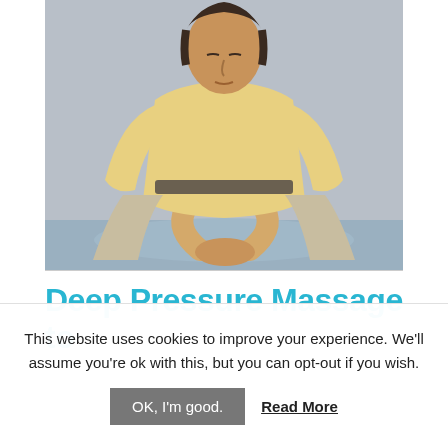[Figure (photo): A man in a yellow polo shirt performing deep pressure massage, pressing down with both hands clasped together on a patient lying on a massage table. Gray background.]
Deep Pressure Massage to
This website uses cookies to improve your experience. We'll assume you're ok with this, but you can opt-out if you wish.
OK, I'm good.   Read More